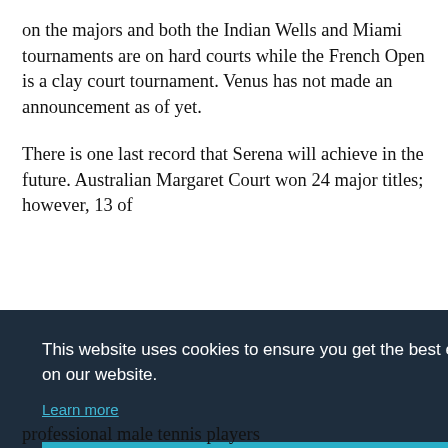on the majors and both the Indian Wells and Miami tournaments are on hard courts while the French Open is a clay court tournament. Venus has not made an announcement as of yet.
There is one last record that Serena will achieve in the future. Australian Margaret Court won 24 major titles; however, 13 of [those were won in the open era. The fact that] [... title] [... 5] [... h] [... er in]
professional male tennis players
This website uses cookies to ensure you get the best experience on our website. Learn more
Got it!